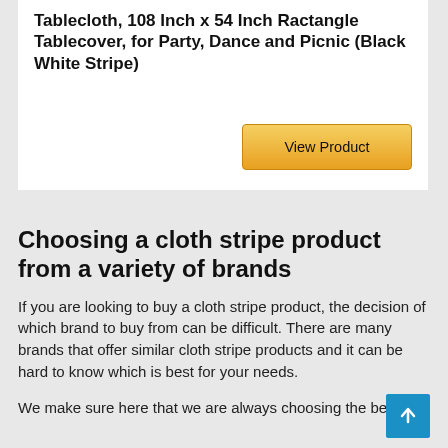Tablecloth, 108 Inch x 54 Inch Ractangle Tablecover, for Party, Dance and Picnic (Black White Stripe)
View Product
Choosing a cloth stripe product from a variety of brands
If you are looking to buy a cloth stripe product, the decision of which brand to buy from can be difficult. There are many brands that offer similar cloth stripe products and it can be hard to know which is best for your needs.
We make sure here that we are always choosing the best